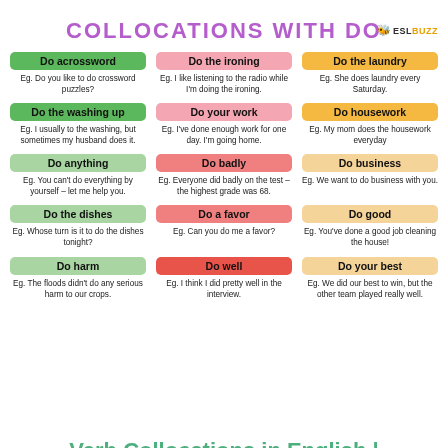COLLOCATIONS WITH DO
| Column 1 | Column 2 | Column 3 |
| --- | --- | --- |
| Do acrossword
Eg. Do you like to do crossword puzzles? | Do the ironing
Eg. I like listening to the radio while I'm doing the ironing. | Do the laundry
Eg. She does laundry every Saturday. |
| Do the washing up
Eg. I usually to the washing, but sometimes my husband does it. | Do your work
Eg. I've done enough work for one day. I'm going home. | Do housework
Eg. My mom does the housework everyday |
| Do anything
Eg. You can't do everything by yourself - let me help you. | Do badly
Eg. Everyone did badly on the test - the highest grade was 68. | Do business
Eg. We want to do business with you. |
| Do the dishes
Eg. Whose turn is it to do the dishes tonight? | Do a favor
Eg. Can you do me a favor? | Do good
Eg. You've done a good job cleaning the house! |
| Do harm
Eg. The floods didn't do any serious harm to our crops. | Do well
Eg. I think I did pretty well in the interview. | Do your best
Eg. We did our best to win, but the other team played really well. |
Verb Collocations in English |